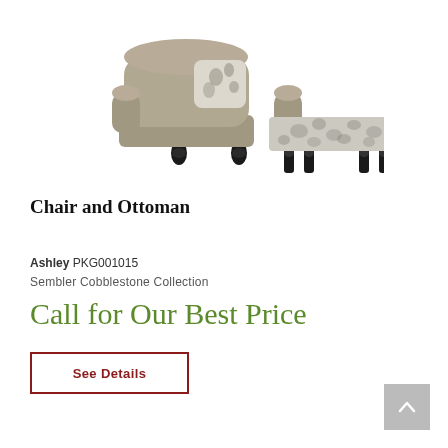[Figure (photo): A taupe/beige upholstered chair with a floral accent pillow and a matching floral-patterned ottoman with dark turned legs.]
Chair and Ottoman
Ashley PKG001015
Sembler Cobblestone Collection
Call for Our Best Price
See Details